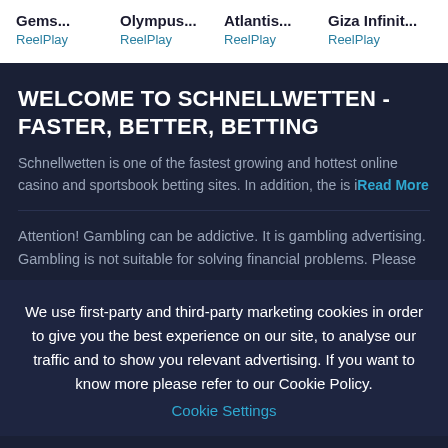Gems... ReelPlay
Olympus... ReelPlay
Atlantis... ReelPlay
Giza Infinit... ReelPlay
WELCOME TO SCHNELLWETTEN - FASTER, BETTER, BETTING
Schnellwetten is one of the fastest growing and hottest online casino and sportsbook betting sites. In addition, the is i… Read More
Attention! Gambling can be addictive. It is gambling advertising. Gambling is not suitable for solving financial problems. Please
We use first-party and third-party marketing cookies in order to give you the best experience on our site, to analyse our traffic and to show you relevant advertising. If you want to know more please refer to our Cookie Policy.
Cookie Settings
I ACCEPT